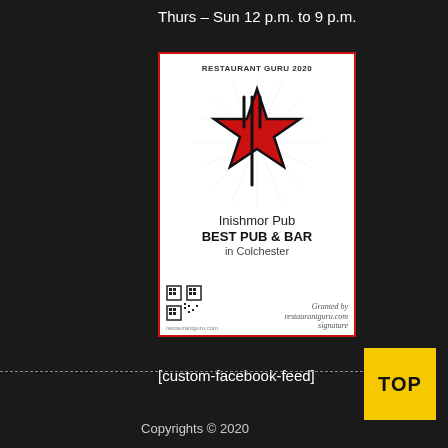Thurs – Sun 12 p.m. to 9 p.m.
[Figure (illustration): Restaurant Guru 2020 award certificate for Inishmor Pub, Best Pub & Bar in Colchester, featuring a red star and fork logo, QR code, and signature, with red border.]
[custom-facebook-feed]
TOP
Copyrights © 2020